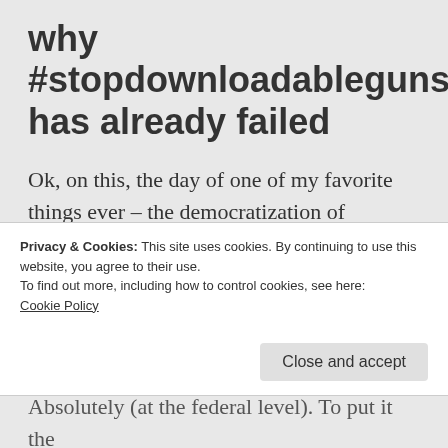why #stopdownloadableguns has already failed
Ok, on this, the day of one of my favorite things ever – the democratization of technology – let us have a serious, sober-ish conversation about this whole #StopDownloadableGuns / #Stop3DPrintedGuns hysteria by starting at the beginning
Privacy & Cookies: This site uses cookies. By continuing to use this website, you agree to their use.
To find out more, including how to control cookies, see here:
Cookie Policy
Absolutely (at the federal level). To put it the